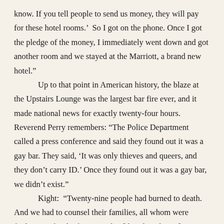know. If you tell people to send us money, they will pay for these hotel rooms.’  So I got on the phone. Once I got the pledge of the money, I immediately went down and got another room and we stayed at the Marriott, a brand new hotel.”
      Up to that point in American history, the blaze at the Upstairs Lounge was the largest bar fire ever, and it made national news for exactly twenty-four hours. Reverend Perry remembers: “The Police Department called a press conference and said they found out it was a gay bar. They said, ‘It was only thieves and queers, and they don’t carry ID.’ Once they found out it was a gay bar, we didn’t exist.”
      Kight:  “Twenty-nine people had burned to death. And we had to counsel their families, all whom were finding out for the first time that [their loved ones] were gay… Lots of people were